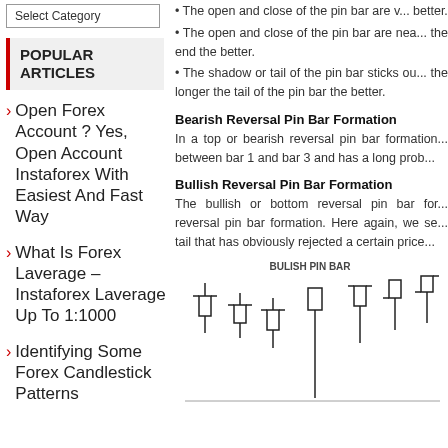Select Category
POPULAR ARTICLES
Open Forex Account ? Yes, Open Account Instaforex With Easiest And Fast Way
What Is Forex Laverage – Instaforex Laverage Up To 1:1000
Identifying Some Forex Candlestick Patterns
• The open and close of the pin bar are v... better.
• The open and close of the pin bar are nea... the end the better.
• The shadow or tail of the pin bar sticks ou... the longer the tail of the pin bar the better.
Bearish Reversal Pin Bar Formation
In a top or bearish reversal pin bar formation... between bar 1 and bar 3 and has a long prob...
Bullish Reversal Pin Bar Formation
The bullish or bottom reversal pin bar for... reversal pin bar formation. Here again, we se... tail that has obviously rejected a certain price...
[Figure (illustration): Bullish pin bar candlestick chart pattern diagram showing a series of candlesticks with the bullish pin bar highlighted, labeled 'BULISH PIN BAR']